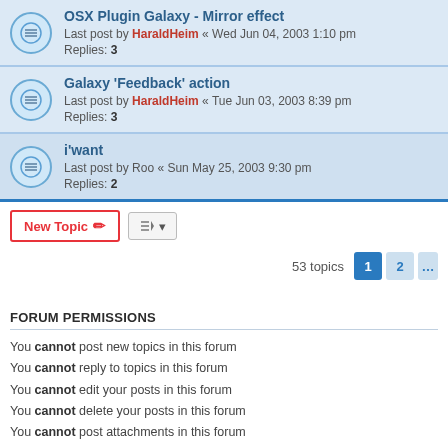OSX Plugin Galaxy - Mirror effect
Last post by HaraldHeim « Wed Jun 04, 2003 1:10 pm
Replies: 3
Galaxy 'Feedback' action
Last post by HaraldHeim « Tue Jun 03, 2003 8:39 pm
Replies: 3
i'want
Last post by Roo « Sun May 25, 2003 9:30 pm
Replies: 2
New Topic | 53 topics  1  2
FORUM PERMISSIONS
You cannot post new topics in this forum
You cannot reply to topics in this forum
You cannot edit your posts in this forum
You cannot delete your posts in this forum
You cannot post attachments in this forum
Board index
Powered by phpBB® Forum Software
Privacy | Terms